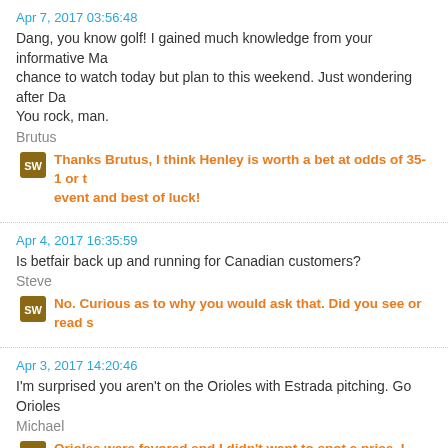Apr 7, 2017 03:56:48
Dang, you know golf! I gained much knowledge from your informative Ma... chance to watch today but plan to this weekend. Just wondering after Da... You rock, man.
Brutus
Thanks Brutus, I think Henley is worth a bet at odds of 35-1 or th... event and best of luck!
Apr 4, 2017 16:35:59
Is betfair back up and running for Canadian customers?
Steve
No. Curious as to why you would ask that. Did you see or read s...
Apr 3, 2017 14:20:46
I'm surprised you aren't on the Orioles with Estrada pitching. Go Orioles...
Michael
Orioles were favored and I didn't want to spot a price. I also kne... high meaning a heavy air and balls would not carry. I'll be targe... right.
Apr 2, 2017 21:58:41
Keep the pga tour picks coming. Great work breaking them down.
Jon